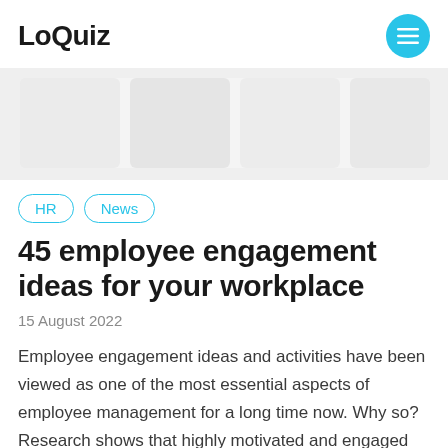LoQuiz
[Figure (photo): Hero image showing blurred/faded office or workplace scene in light gray tones]
HR | News
45 employee engagement ideas for your workplace
15 August 2022
Employee engagement ideas and activities have been viewed as one of the most essential aspects of employee management for a long time now. Why so? Research shows that highly motivated and engaged employees are much happier, more productive, and